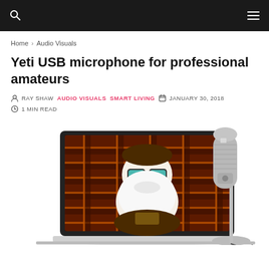Navigation bar with search and menu icons
Home › Audio Visuals
Yeti USB microphone for professional amateurs
RAY SHAW  AUDIO VISUALS  SMART LIVING  JANUARY 30, 2018
1 MIN READ
[Figure (photo): Photo of a Blue Yeti USB microphone next to an open laptop displaying an illustrated cartoon character with large glasses and a white beard on a plaid background.]